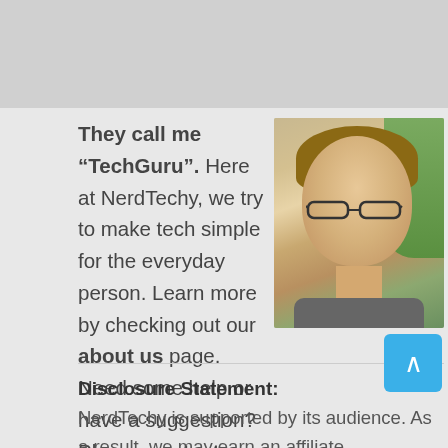[Figure (photo): Photo of a young man with glasses and brown hair, smiling, with blurred greenery in the background]
They call me "TechGuru". Here at NerdTechy, we try to make tech simple for the everyday person. Learn more by checking out our about us page. Need some help or have a suggestion? Please contact us if so.
Disclosure Statement:
NerdTechy is supported by its audience. As a result, we may earn an affiliate commission via